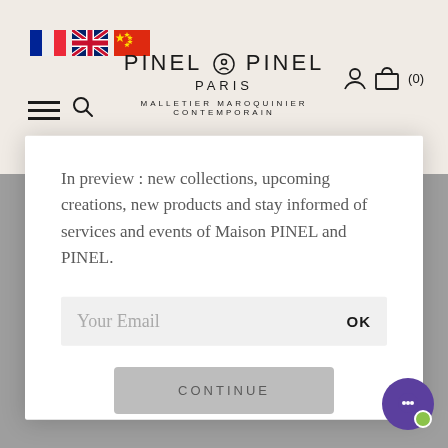PINEL & PINEL PARIS — MALLETIER MAROQUINIER CONTEMPORAIN
Email Sign-up
In preview : new collections, upcoming creations, new products and stay informed of services and events of Maison PINEL and PINEL.
Your Email  OK
No thanks